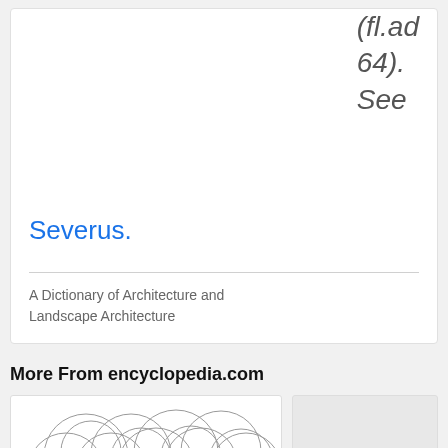(fl.ad 64). See
Severus.
A Dictionary of Architecture and Landscape Architecture
More From encyclopedia.com
[Figure (illustration): Geometric line drawing with overlapping circles and dots, showing an architectural or mathematical diagram]
[Figure (illustration): Light gray rectangle, thumbnail placeholder]